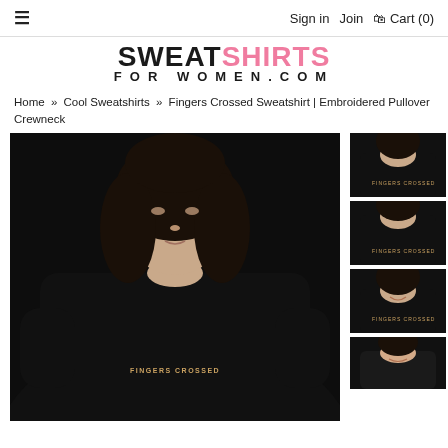≡  Sign in  Join  🛒 Cart (0)
SWEATSHIRTS FOR WOMEN.COM
Home » Cool Sweatshirts » Fingers Crossed Sweatshirt | Embroidered Pullover Crewneck
[Figure (photo): Woman wearing a black crewneck sweatshirt with 'FINGERS CROSSED' embroidered text on the chest, shown from mid-torso up, with dark background]
[Figure (photo): Thumbnail: close-up of black sweatshirt front with embroidered text]
[Figure (photo): Thumbnail: second view of black sweatshirt with embroidered text]
[Figure (photo): Thumbnail: smiling woman wearing the black sweatshirt]
[Figure (photo): Thumbnail: partial view of woman wearing the black sweatshirt]